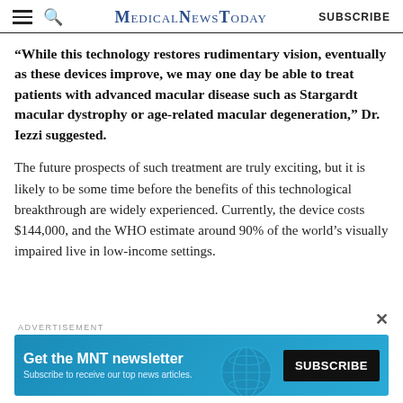MedicalNewsToday  SUBSCRIBE
“While this technology restores rudimentary vision, eventually as these devices improve, we may one day be able to treat patients with advanced macular disease such as Stargardt macular dystrophy or age-related macular degeneration,” Dr. Iezzi suggested.
The future prospects of such treatment are truly exciting, but it is likely to be some time before the benefits of this technological breakthrough are widely experienced. Currently, the device costs $144,000, and the WHO estimate around 90% of the world’s visually impaired live in low-income settings.
[Figure (other): Advertisement banner for MNT newsletter with teal background. Text reads: Get the MNT newsletter. Subscribe to receive our top news articles. SUBSCRIBE button on right.]